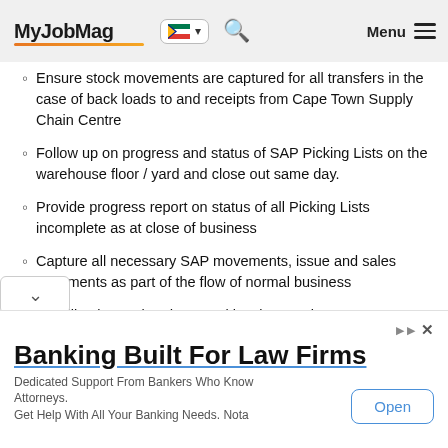MyJobMag [South Africa flag] [Search] Menu
Ensure stock movements are captured for all transfers in the case of back loads to and receipts from Cape Town Supply Chain Centre
Follow up on progress and status of SAP Picking Lists on the warehouse floor / yard and close out same day.
Provide progress report on status of all Picking Lists incomplete as at close of business
Capture all necessary SAP movements, issue and sales documents as part of the flow of normal business
Handling internal and external invoice queries
Facilitate Customer and Vendor Returns process
Document control by filing and collating all Picking Lists, Physical Inventory Documents
[Figure (infographic): Advertisement banner: Banking Built For Law Firms. Dedicated Support From Bankers Who Know Attorneys. Get Help With All Your Banking Needs. Nota. Open button.]